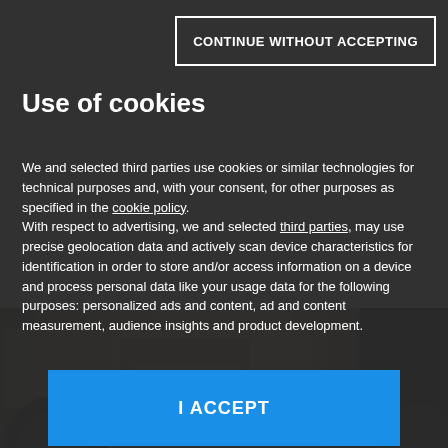[Figure (screenshot): Background photo of a vehicle (truck/camper van) visible at bottom of page, showing wheel and interior details]
CONTINUE WITHOUT ACCEPTING
Use of cookies
We and selected third parties use cookies or similar technologies for technical purposes and, with your consent, for other purposes as specified in the cookie policy.
With respect to advertising, we and selected third parties, may use precise geolocation data and actively scan device characteristics for identification in order to store and/or access information on a device and process personal data like your usage data for the following purposes: personalized ads and content, ad and content measurement, audience insights and product development.
I ACCEPT
CUSTOMIZE
[Figure (logo): Mondadori Media logo with red M triangle icon and text MONDADORI MEDIA]